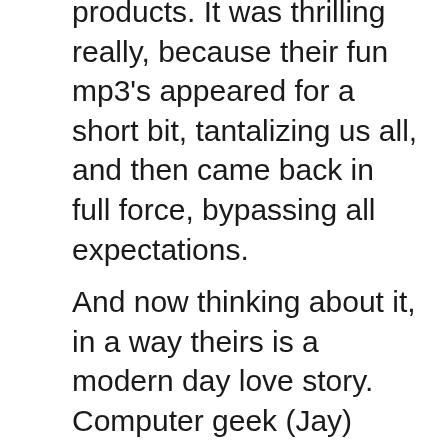products. It was thrilling really, because their fun mp3's appeared for a short bit, tantalizing us all, and then came back in full force, bypassing all expectations.
And now thinking about it, in a way theirs is a modern day love story. Computer geek (Jay) moves to Thailand for work. Geek meets gorgeous and talented local gal (Jo) who has a love of languages. Using her command of the Thai language, she teaches him Thai in such a way that his geek instincts go into high gear. After briefly testing the waters, his geekiness and her Thai skills were fused to give us Learn Thai Podcast, which has now surpassed 800+ lessons. Now is that sweet, or what?
For more of the story, read Jo and Jay's post from 2010: Overview: Learn Thai Podcast